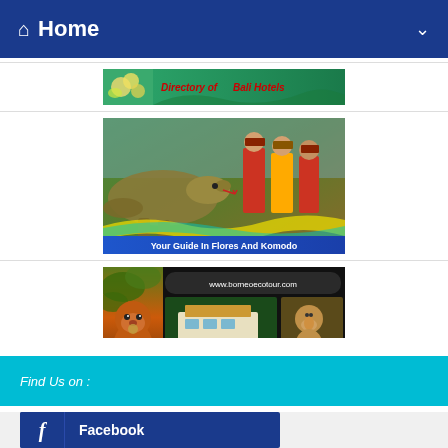Home
[Figure (screenshot): Directory of Bali Hotels banner with green background and flower image, red bold italic text 'Directory of Bali Hotels']
[Figure (screenshot): Your Guide In Flores And Komodo banner with Komodo dragon and cultural performers, blue label bar at bottom]
[Figure (screenshot): Borneo Eco Tour banner with orangutan, www.borneoecotour.com URL box, eco lodges, proboscis monkey images, yellow-green label 'Your Guide to Eco-Tourism']
Find Us on :
Facebook